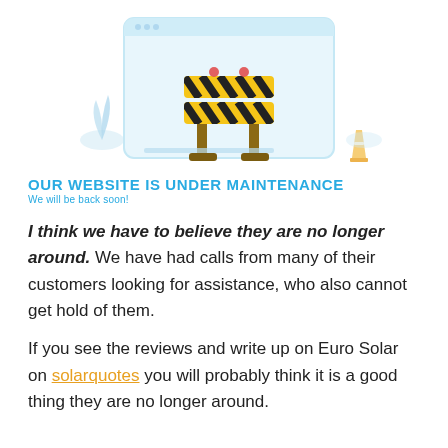[Figure (illustration): Illustration of a website under maintenance: a road construction barrier with yellow and black diagonal stripes in front of a computer screen with a light blue background, flanked by decorative elements including plants and a traffic cone.]
OUR WEBSITE IS UNDER MAINTENANCE
We will be back soon!
I think we have to believe they are no longer around. We have had calls from many of their customers looking for assistance, who also cannot get hold of them.
If you see the reviews and write up on Euro Solar on solarquotes you will probably think it is a good thing they are no longer around.